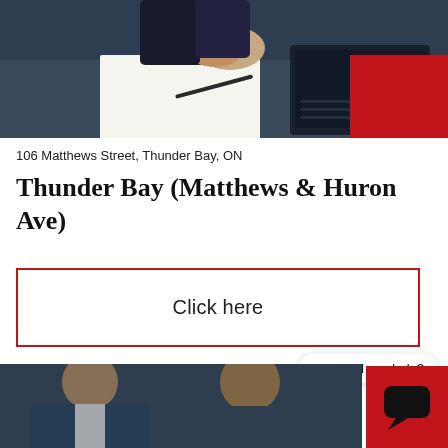[Figure (photo): Person in suit writing on clipboard with laptop, red rectangle overlay in top right corner]
106 Matthews Street, Thunder Bay, ON
Thunder Bay (Matthews & Huron Ave)
Click here
Hi. Need any help?
[Figure (photo): Two people in suits, red rectangle overlay with chat icon in bottom right corner]